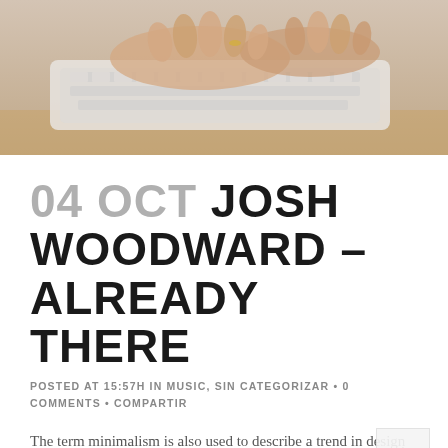[Figure (photo): Close-up photo of hands typing on a white keyboard on a wooden desk]
04 OCT JOSH WOODWARD – ALREADY THERE
POSTED AT 15:57H IN MUSIC, SIN CATEGORIZAR • 0 COMMENTS • COMPARTIR
The term minimalism is also used to describe a trend in design and architecture where in the subject is reduced to its necessary elements. Minimalist design has been highly influenced by Japanese traditional design and architecture. In addition, the work of De Stijl artists is